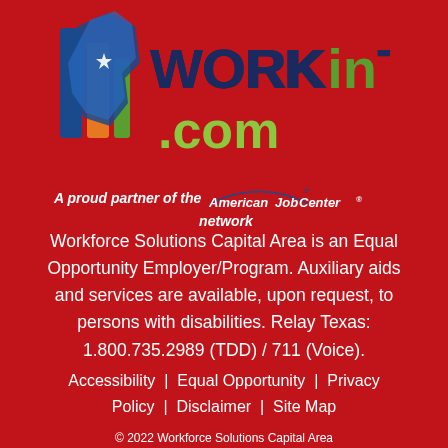[Figure (logo): WORKinTEXAS.com logo with Texas map icon in blue/orange/green and text 'WORKinTEXAS' in dark blue with 'in' in green, and '.com' in lime green below]
A proud partner of the American Job Center network
Workforce Solutions Capital Area is an Equal Opportunity Employer/Program. Auxiliary aids and services are available, upon request, to persons with disabilities. Relay Texas: 1.800.735.2989 (TDD) / 711 (Voice).
Accessibility  |  Equal Opportunity  |  Privacy Policy  |  Disclaimer  |  Site Map
© 2022 Workforce Solutions Capital Area